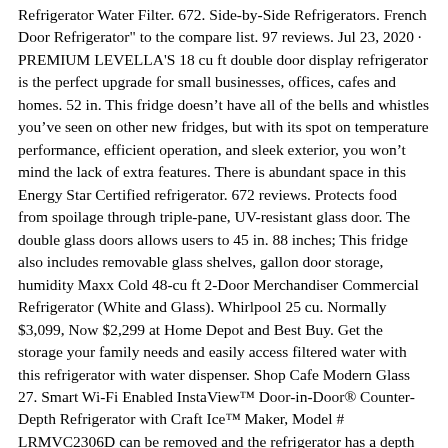Refrigerator Water Filter. 672. Side-by-Side Refrigerators. French Door Refrigerator" to the compare list. 97 reviews. Jul 23, 2020 · PREMIUM LEVELLA'S 18 cu ft double door display refrigerator is the perfect upgrade for small businesses, offices, cafes and homes. 52 in. This fridge doesn't have all of the bells and whistles you've seen on other new fridges, but with its spot on temperature performance, efficient operation, and sleek exterior, you won't mind the lack of extra features. There is abundant space in this Energy Star Certified refrigerator. 672 reviews. Protects food from spoilage through triple-pane, UV-resistant glass door. The double glass doors allows users to 45 in. 88 inches; This fridge also includes removable glass shelves, gallon door storage, humidity Maxx Cold 48-cu ft 2-Door Merchandiser Commercial Refrigerator (White and Glass). Whirlpool 25 cu. Normally $3,099, Now $2,299 at Home Depot and Best Buy. Get the storage your family needs and easily access filtered water with this refrigerator with water dispenser. Shop Cafe Modern Glass 27. Smart Wi-Fi Enabled InstaView&trade; Door-in-Door&reg; Counter-Depth Refrigerator with Craft Ice&trade; Maker, Model # LRMVC2306D can be removed and the refrigerator has a depth of 24&quot; without the doors and a depth of 28 7/8&quot; without the handles. French Door Refrigerator in Stainless Steel With Samsung Access $ 1,499. com and depending on the regular price of your Qualifying • Tall Ice & Water Dispensers: Not only can you get perfectly made ice globes, but LG InstaView™ Door-in-